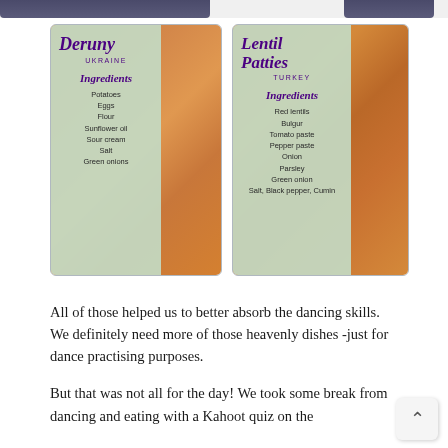[Figure (photo): Two recipe cards side by side. Left card: 'Deruny' from Ukraine with ingredients: Potatoes, Eggs, Flour, Sunflower oil, Sour cream, Salt, Green onions — overlaid on a photo of stacked orange potato pancakes with green onions. Right card: 'Lentil Patties' from Turkey with ingredients: Red lentils, Bulgur, Tomato paste, Pepper paste, Onion, Parsley, Green onion, Salt, Black pepper, Cumin — overlaid on a photo of golden-brown lentil patties.]
All of those helped us to better absorb the dancing skills. We definitely need more of those heavenly dishes -just for dance practising purposes.
But that was not all for the day! We took some break from dancing and eating with a Kahoot quiz on the